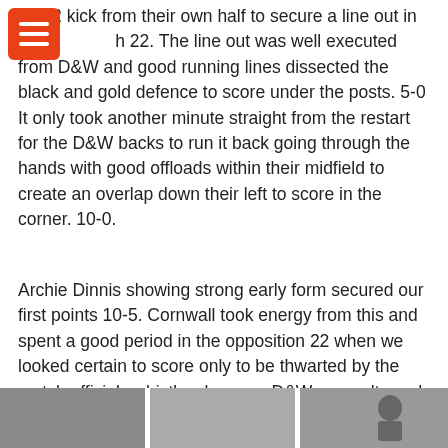59:22 kick from their own half to secure a line out in the 22. The line out was well executed from D&W and good running lines dissected the black and gold defence to score under the posts. 5-0 It only took another minute straight from the restart for the D&W backs to run it back going through the hands with good offloads within their midfield to create an overlap down their left to score in the corner. 10-0.
Archie Dinnis showing strong early form secured our first points 10-5. Cornwall took energy from this and spent a good period in the opposition 22 when we looked certain to score only to be thwarted by the match officials whistle who gave D&W a penalty and from 5m off their own line they ran it back down their left wing to score a fine try on 20mins. 5-15.
Our boys held their own right up until just before half time when we slipped off some tackles for D&W to break our lines to register a further 2 scores to close the half 5-25.
[Figure (photo): A photo strip at the bottom of the page showing partial images of players or match scenes.]